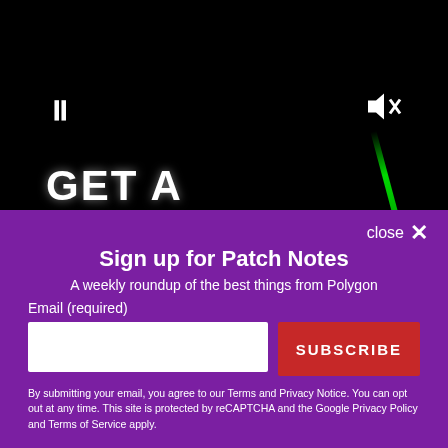[Figure (screenshot): Video player with black background showing partial text 'GET A' in white bold letters, with a green diagonal light effect on the right. Pause button (||) visible at left center, muted speaker icon at right center.]
close ✕
Sign up for Patch Notes
A weekly roundup of the best things from Polygon
Email (required)
SUBSCRIBE
By submitting your email, you agree to our Terms and Privacy Notice. You can opt out at any time. This site is protected by reCAPTCHA and the Google Privacy Policy and Terms of Service apply.